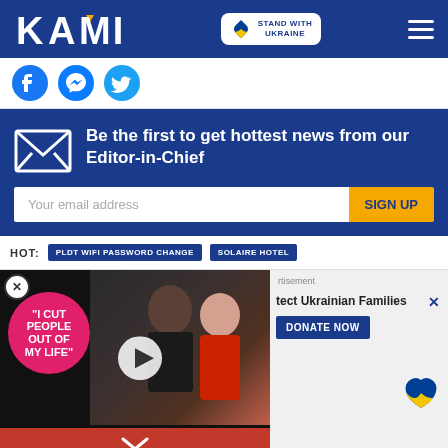KAMI - STAND WITH UKRAINE
[Figure (logo): KAMI logo with social media icons (Facebook, Messenger, Twitter) and Stand With Ukraine badge]
Be the first to get hottest news from our Editor-in-Chief
Your email address   SIGN UP
HOT: PLDT WIFI PASSWORD CHANGE   SOLAIRE HOTEL
[Figure (screenshot): Video thumbnail with pink circle overlay reading 'I CUT PEOPLE OUT OF MY LIFE' and play button, red chevron bar at bottom]
[Figure (infographic): Protect Ukrainian Families - DONATE NOW button with Ukraine heart logo]
[Figure (infographic): CVS Pharmacy advertisement: Visit A CVS Near You]